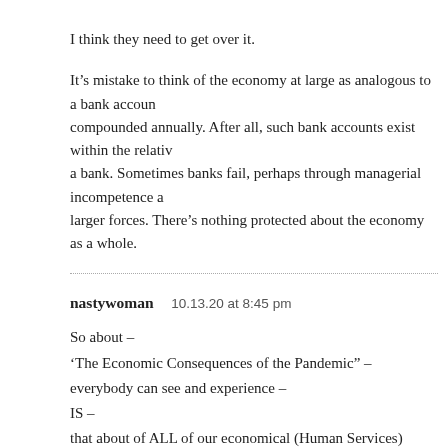I think they need to get over it.
It’s mistake to think of the economy at large as analogous to a bank account compounded annually. After all, such bank accounts exist within the relative safety of a bank. Sometimes banks fail, perhaps through managerial incompetence and larger forces. There’s nothing protected about the economy as a whole.
nastywoman   10.13.20 at 8:45 pm
So about –
‘The Economic Consequences of the Pandemic” –
everybody can see and experience –
IS –
that about of ALL of our economical (Human Services) activity has been c…
AND that people who know a little bit about it – think – that will not champ…
coming year(s)
So can I finally get an answer if THE above is… true?
Or if it is just a… a… “whatever” of my imagination?